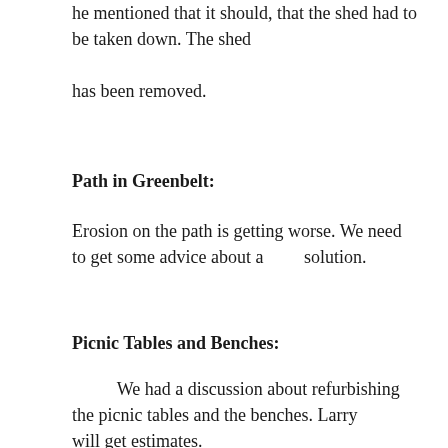he mentioned that it should, that the shed had to be taken down.  The shed has been removed.
Path in Greenbelt:
Erosion on the path is getting worse.  We need to get some advice about a        solution.
Picnic Tables and Benches:
We had a discussion about refurbishing the picnic tables and the benches.  Larry          will get estimates.